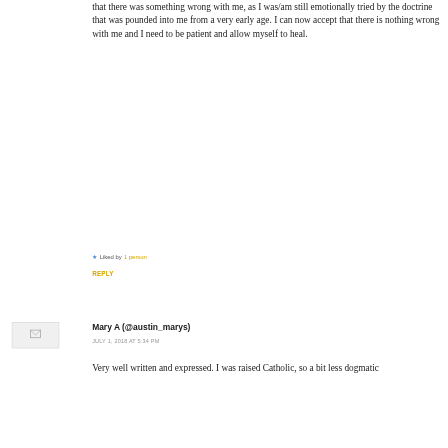that there was something wrong with me, as I was/am still emotionally tried by the doctrine that was pounded into me from a very early age. I can now accept that there is nothing wrong with me and I need to be patient and allow myself to heal.
★ Liked by 1 person
REPLY
[Figure (other): Avatar placeholder image for commenter Mary A]
Mary A (@austin_marys)
JULY 1, 2018 AT 5:34 PM
Very well written and expressed. I was raised Catholic, so a bit less dogmatic